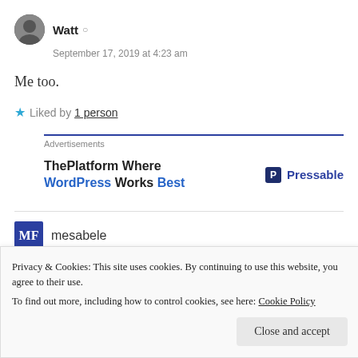Watt
September 17, 2019 at 4:23 am
Me too.
★ Liked by 1 person
[Figure (infographic): Advertisements banner: ThePlatform Where WordPress Works Best — Pressable]
mesabele
Privacy & Cookies: This site uses cookies. By continuing to use this website, you agree to their use. To find out more, including how to control cookies, see here: Cookie Policy
Close and accept